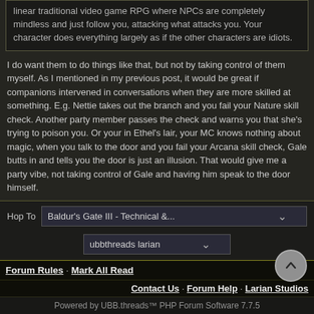linear traditional video game RPG where NPCs are completely mindless and just follow you, attacking what attacks you. Your character does everything largely as if the other characters are idiots.
I do want them to do things like that, but not by taking control of them myself. As I mentioned in my previous post, it would be great if companions intervened in conversations when they are more skilled at something. E.g. Nettie takes out the branch and you fail your Nature skill check. Another party member passes the check and warns you that she's trying to poison you. Or your in Ethel's lair, your MC knows nothing about magic, when you talk to the door and you fail your Arcana skill check, Gale butts in and tells you the door is just an illusion. That would give me a party vibe, not taking control of Gale and having him speak to the door himself.

But sure, it ultimately comes down to personal preference.
Hop To   Baldur's Gate III - Technical &...
ubbthreads larian
Forum Rules · Mark All Read
Contact Us · Forum Help · Larian Studios
Powered by UBB.threads™ PHP Forum Software 7.7.5